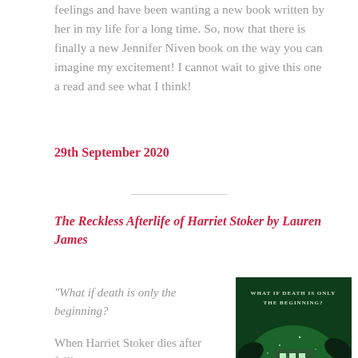...feelings and have been wanting a new book written by her in my life for a long time. So, now that there is finally a new Jennifer Niven book on the way you can imagine my excitement! I cannot wait to give this one a read and see what I think!
29th September 2020
The Reckless Afterlife of Harriet Stoker by Lauren James
“What if death is only the beginning?
When Harriet Stoker dies after falling...
[Figure (photo): Book cover of The Reckless Afterlife of Harriet Stoker — dark green background with glowing building windows, dark leaves, and text 'WHAT IF DEATH IS ONLY THE BEGINNING?']